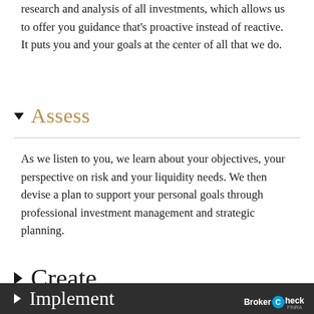research and analysis of all investments, which allows us to offer you guidance that's proactive instead of reactive. It puts you and your goals at the center of all that we do.
Assess
As we listen to you, we learn about your objectives, your perspective on risk and your liquidity needs. We then devise a plan to support your personal goals through professional investment management and strategic planning.
Create
Implement
BrokerCheck FINRA